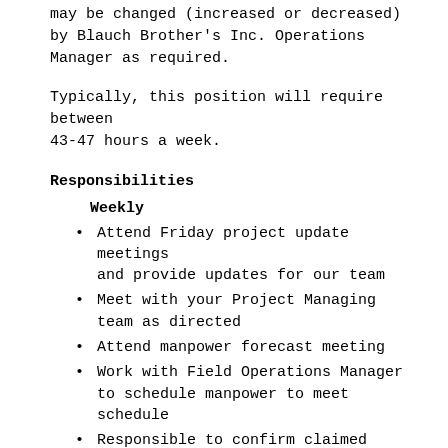may be changed (increased or decreased) by Blauch Brother's Inc. Operations Manager as required.
Typically, this position will require between 43-47 hours a week.
Responsibilities
Weekly
Attend Friday project update meetings and provide updates for our team
Meet with your Project Managing team as directed
Attend manpower forecast meeting
Work with Field Operations Manager to schedule manpower to meet schedule
Responsible to confirm claimed quantities for all jobs assigned
Responsible to ensure material cost stay within budget.
Responsible for notifying purchasing